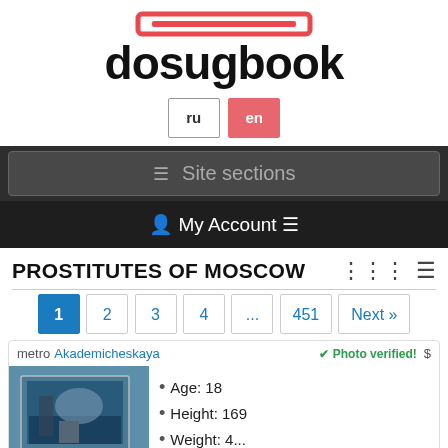[Figure (logo): dosugbook logo with red rectangle icon above bold black text]
ru  en
≡ Site sections
👤 My Account ≡
PROSTITUTES OF MOSCOW
1  2  3  4  ...  451  Next »
metro Akademicheskaya  ✔ Photo verified! $
Age: 18
Height: 169
Weight: 4...